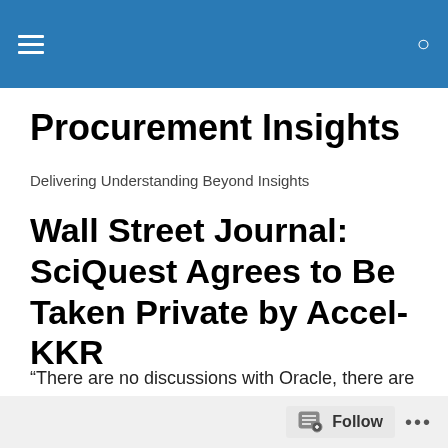Procurement Insights — site navigation header bar
Procurement Insights
Delivering Understanding Beyond Insights
Wall Street Journal: SciQuest Agrees to Be Taken Private by Accel-KKR
“There are no discussions with Oracle, there are no discussions with IBM, there are no discussions with . . . anyone wanna pick a name . . . there are no discussions, there… — Stephen Winkler, SciQuest CEO, Ja…
Follow •••